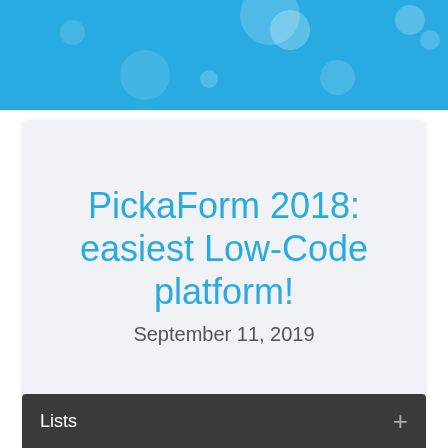[Figure (illustration): Blue header banner with decorative light blue circular bubble bokeh elements on a sky blue background]
PickaForm 2018: easiest Low-Code platform!
September 11, 2019
Lists